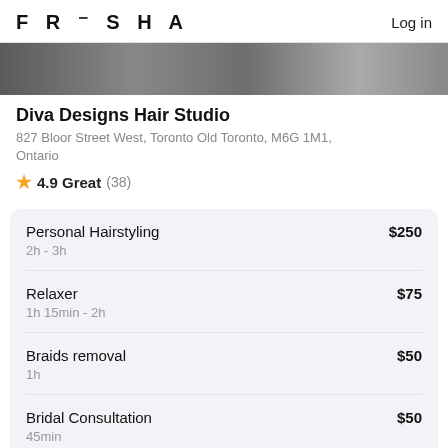FRESHA  Log in
[Figure (photo): Hero image banner showing hair studio photos]
Diva Designs Hair Studio
827 Bloor Street West, Toronto Old Toronto, M6G 1M1, Ontario
⭐ 4.9 Great (38)
| Service | Duration | Price |
| --- | --- | --- |
| Personal Hairstyling | 2h - 3h | $250 |
| Relaxer | 1h 15min - 2h | $75 |
| Braids removal | 1h | $50 |
| Bridal Consultation | 45min | $50 |
See more services